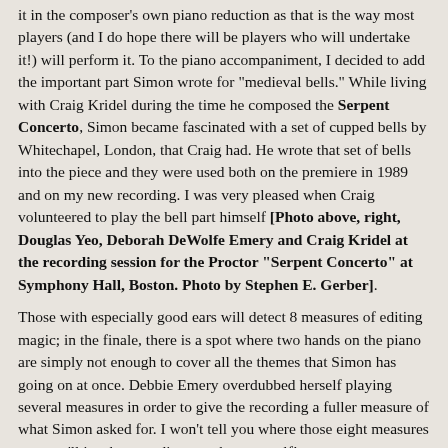it in the composer's own piano reduction as that is the way most players (and I do hope there will be players who will undertake it!) will perform it. To the piano accompaniment, I decided to add the important part Simon wrote for "medieval bells." While living with Craig Kridel during the time he composed the Serpent Concerto, Simon became fascinated with a set of cupped bells by Whitechapel, London, that Craig had. He wrote that set of bells into the piece and they were used both on the premiere in 1989 and on my new recording. I was very pleased when Craig volunteered to play the bell part himself [Photo above, right, Douglas Yeo, Deborah DeWolfe Emery and Craig Kridel at the recording session for the Proctor "Serpent Concerto" at Symphony Hall, Boston. Photo by Stephen E. Gerber].
Those with especially good ears will detect 8 measures of editing magic; in the finale, there is a spot where two hands on the piano are simply not enough to cover all the themes that Simon has going on at once. Debbie Emery overdubbed herself playing several measures in order to give the recording a fuller measure of what Simon asked for. I won't tell you where those eight measures are, you'll just have to discover that yourself!
Simon Proctor's Serpent Concerto is under contract for publication by Southern Music Company. While it will always be thought of first and foremost as a piece for serpent, there is no doubt it is an attractive work for other bass wind instruments such